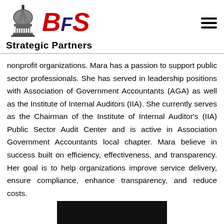[Figure (logo): BFS Strategic Partners logo with Capitol building dome and stylized BFS text in red and navy]
nonprofit organizations. Mara has a passion to support public sector professionals. She has served in leadership positions with Association of Government Accountants (AGA) as well as the Institute of Internal Auditors (IIA). She currently serves as the Chairman of the Institute of Internal Auditor's (IIA) Public Sector Audit Center and is active in Association Government Accountants local chapter. Mara believe in success built on efficiency, effectiveness, and transparency. Her goal is to help organizations improve service delivery, ensure compliance, enhance transparency, and reduce costs.
[Figure (photo): Bottom strip of a photo, dark background visible]